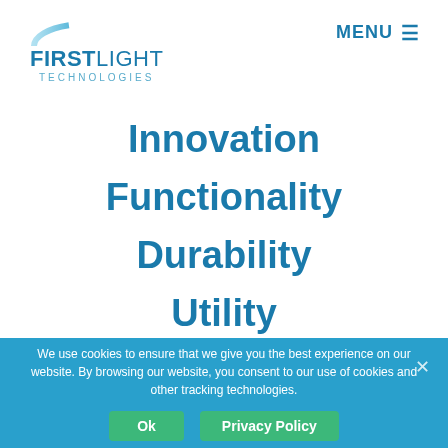[Figure (logo): First Light Technologies logo with arc graphic above text. Bold 'FIRSTLIGHT' with 'TECHNOLOGIES' in smaller spaced letters below.]
MENU ≡
Innovation
Functionality
Durability
Utility
We use cookies to ensure that we give you the best experience on our website. By browsing our website, you consent to our use of cookies and other tracking technologies.
Ok   Privacy Policy